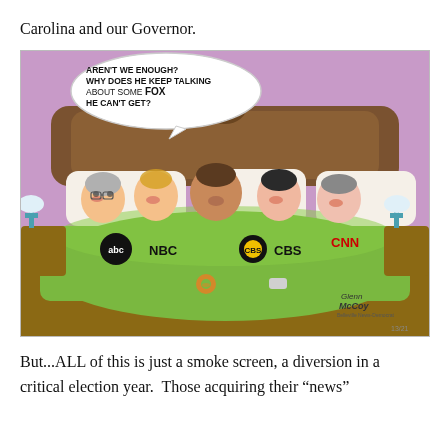Carolina and our Governor.
[Figure (illustration): Political cartoon showing a figure in bed with ABC, NBC, CBS, and CNN network logos as companions under green covers. A speech bubble reads: 'AREN'T WE ENOUGH? WHY DOES HE KEEP TALKING ABOUT SOME FOX HE CAN'T GET?' Signed by Glenn McCoy.]
But...ALL of this is just a smoke screen, a diversion in a critical election year.  Those acquiring their “news”